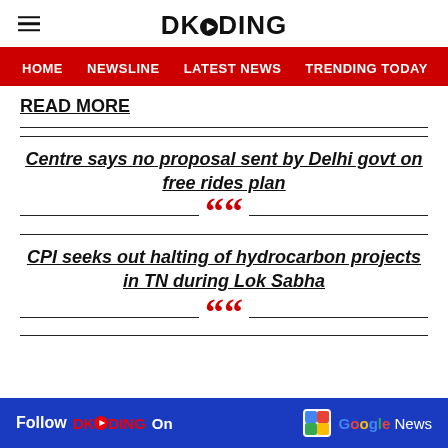DKODING
HOME  NEWSLINE  LATEST NEWS  TRENDING TODAY  ENT
READ MORE
Centre says no proposal sent by Delhi govt on free rides plan
CPI seeks out halting of hydrocarbon projects in TN during Lok Sabha
Follow DKODING On  Google News